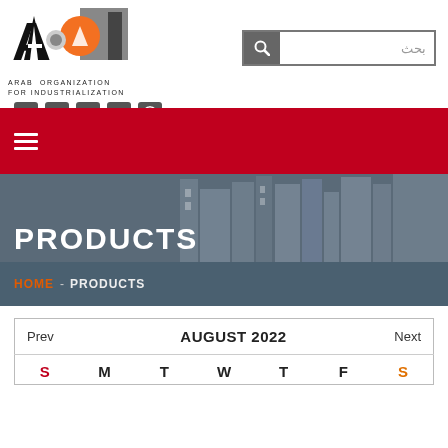[Figure (logo): Arab Organization for Industrialization (AOI) logo — bold black letters A, O, I with orange circle and gear imagery]
Arab Organization
for Industrialization
[Figure (infographic): Social media icons: phone, YouTube, Facebook, email, globe. Arabic text 'عربي'. Search box with magnifying glass icon and Arabic placeholder text 'بحث'.]
[Figure (infographic): Red navigation bar with hamburger menu icon (three white lines)]
PRODUCTS
HOME  -  PRODUCTS
| Prev | AUGUST 2022 | Next |
| --- | --- | --- |
| S | M | T | W | T | F | S |